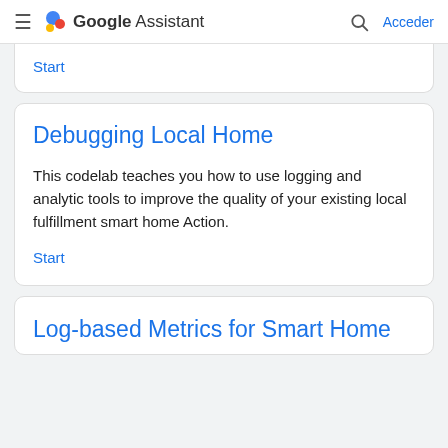Google Assistant — Acceder
Start
Debugging Local Home
This codelab teaches you how to use logging and analytic tools to improve the quality of your existing local fulfillment smart home Action.
Start
Log-based Metrics for Smart Home